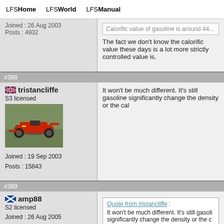LFSHome  LFSWorld  LFSManual
Joined : 26 Aug 2003
Posts : 4932
Calorific value of gasoline is around 44... The fact we don't know the calorific value these days is a lot more strictly controlled value is.
#388
tristancliffe
S3 licensed
Joined : 19 Sep 2003
Posts : 15843
It won't be much different. It's still gasoline significantly change the density or the cal
#389
amp88
S2 licensed
Joined : 26 Aug 2005
Posts : 4932
Quote from tristancliffe : It won't be much different. It's still gasoline significantly change the density or the c